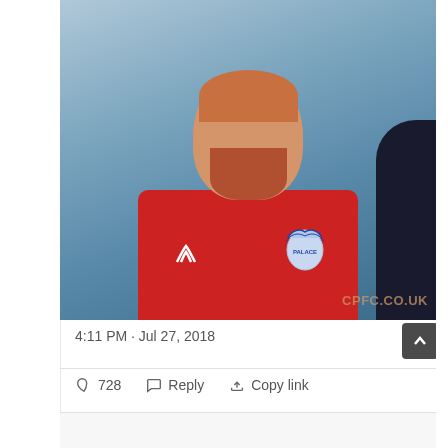[Figure (photo): A smiling male footballer with short reddish hair and a beard, wearing a red Crystal Palace FC training shirt with Puma logo and CPFC crest. Watermark reads CPFC.CO.UK. Background is blurred outdoor setting.]
4:11 PM · Jul 27, 2018
728  Reply  Copy link